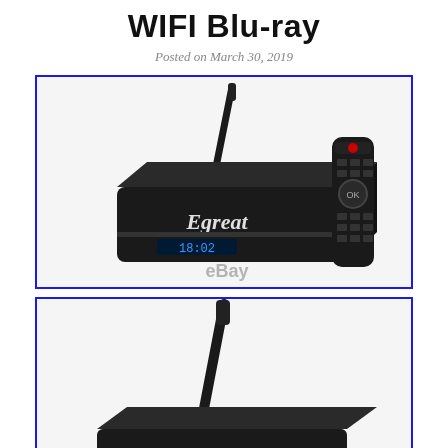WIFI Blu-ray
Posted on March 30, 2019
[Figure (photo): Egreat media player box with antenna and remote control. The black box shows '18:02' on its LED display. An eBay watermark is visible. The remote has red and black buttons with an OK button in the center.]
[Figure (photo): Close-up of the Egreat media player box antenna, showing the device from a different angle.]